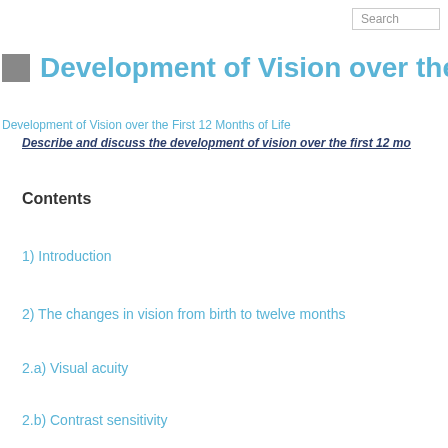Search
Development of Vision over the F
Development of Vision over the First 12 Months of Life
Describe and discuss the development of vision over the first 12 mo
Contents
1) Introduction
2) The changes in vision from birth to twelve months
2.a)  Visual acuity
2.b)  Contrast sensitivity